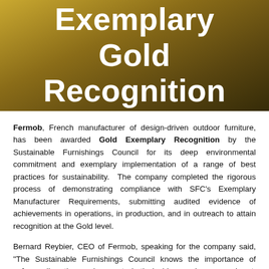Exemplary Gold Recognition
Fermob, French manufacturer of design-driven outdoor furniture, has been awarded Gold Exemplary Recognition by the Sustainable Furnishings Council for its deep environmental commitment and exemplary implementation of a range of best practices for sustainability. The company completed the rigorous process of demonstrating compliance with SFC's Exemplary Manufacturer Requirements, submitting audited evidence of achievements in operations, in production, and in outreach to attain recognition at the Gold level.
Bernard Reybier, CEO of Fermob, speaking for the company said, "The Sustainable Furnishings Council knows the importance of safeguarding the environment, both inside our homes and out. Fermob has taken sustainability seriously for over 20 years when we invested in a zero-waste painting facility. We are honored that our efforts have been recognized